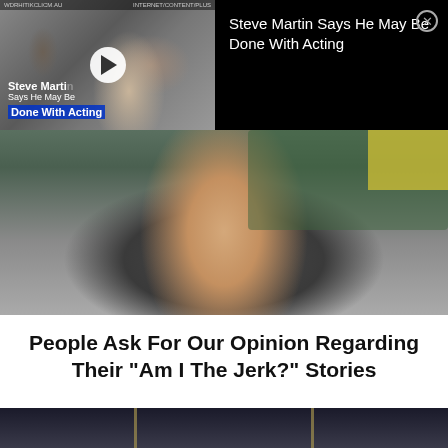[Figure (screenshot): Video thumbnail showing a man in a suit at an event, with text overlay 'Steve Martin Says He May Be Done With Acting' and a play button]
Steve Martin Says He May Be Done With Acting
[Figure (photo): Young Asian woman resting her chin on her arms on a desk in a classroom, looking thoughtful]
People Ask For Our Opinion Regarding Their "Am I The Jerk?" Stories
[Figure (photo): Bottom portion showing a dark tunnel or aisle perspective view]